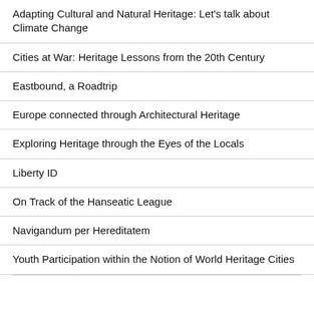Adapting Cultural and Natural Heritage: Let's talk about Climate Change
Cities at War: Heritage Lessons from the 20th Century
Eastbound, a Roadtrip
Europe connected through Architectural Heritage
Exploring Heritage through the Eyes of the Locals
Liberty ID
On Track of the Hanseatic League
Navigandum per Hereditatem
Youth Participation within the Notion of World Heritage Cities